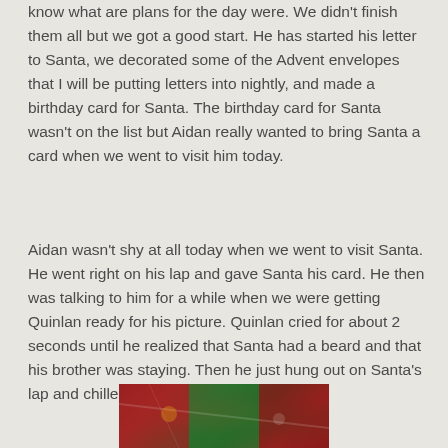know what are plans for the day were.  We didn't finish them all but we got a good start.  He has started his letter to Santa, we decorated some of the Advent envelopes that I will be putting letters into nightly, and made a birthday card for Santa.  The birthday card for Santa wasn't on the list but Aidan really wanted to bring Santa a card when we went to visit him today.
Aidan wasn't shy at all today when we went to visit Santa.  He went right on his lap and gave Santa his card.  He then was talking to him for a while when we were getting Quinlan ready for his picture.  Quinlan cried for about 2 seconds until he realized that Santa had a beard and that his brother was staying.  Then he just hung out on Santa's lap and chilled.  All in all a good day.
[Figure (photo): A partial photo showing Christmas-themed colors — red and green, likely showing Christmas decorations or a Santa visit scene, cropped at bottom of page.]